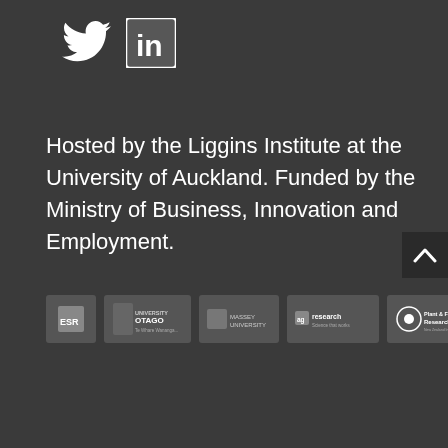[Figure (logo): Twitter bird icon (white) and LinkedIn square icon (white) on dark background]
Hosted by the Liggins Institute at the University of Auckland. Funded by the Ministry of Business, Innovation and Employment.
[Figure (logo): Row of partner organization logos: ESR, University of Otago, Massey University, AgResearch, Plant & Food Research]